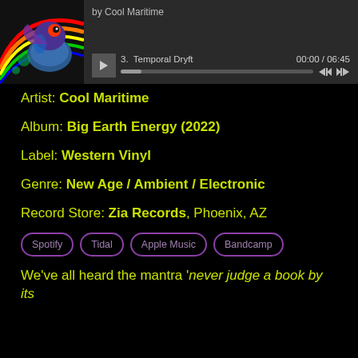[Figure (screenshot): Music player interface showing album art of a colorful psychedelic frog with rainbow. Player shows track 3 Temporal Dryft by Cool Maritime, 00:00 / 06:45, with play button, progress bar, and skip controls.]
Artist: Cool Maritime
Album: Big Earth Energy (2022)
Label: Western Vinyl
Genre: New Age / Ambient / Electronic
Record Store: Zia Records, Phoenix, AZ
Spotify
Tidal
Apple Music
Bandcamp
We've all heard the mantra 'never judge a book by its